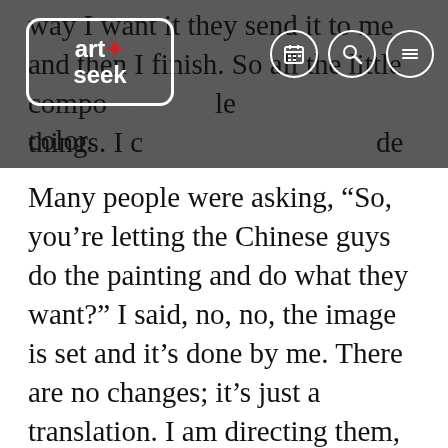way I want it they send it to me and then I finish. So all the little components, little things. I correct things or decide to change a color.
[Figure (logo): Art+Seek logo — white rounded rectangle border with 'art+seek' text, red star/plus symbol]
Many people were asking, “So, you’re letting the Chinese guys do the painting and do what they want?” I said, no, no, the image is set and it’s done by me. There are no changes; it’s just a translation. I am directing them, telling them what color to use, what to do in the background, so they are not changing the image you see on the computer. I want people to see the hand stroke; it was done by hand, not by a computer.
T.A.: These colors are vibrant. Some look like